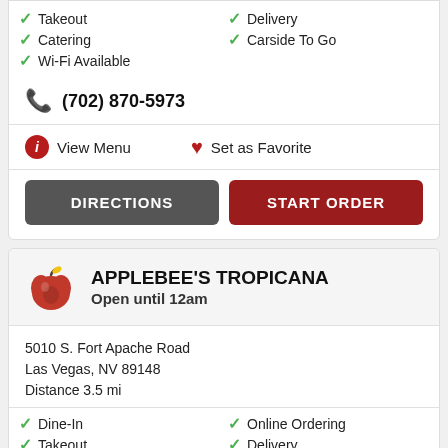✓ Takeout  ✓ Delivery
✓ Catering  ✓ Carside To Go
✓ Wi-Fi Available
(702) 870-5973
View Menu   Set as Favorite
DIRECTIONS   START ORDER
APPLEBEE'S TROPICANA
Open until 12am
5010 S. Fort Apache Road
Las Vegas, NV 89148
Distance 3.5 mi
✓ Dine-In  ✓ Online Ordering
✓ Takeout  ✓ Delivery
✓ Catering  ✓ Carside To Go
✓ Wi-Fi Available